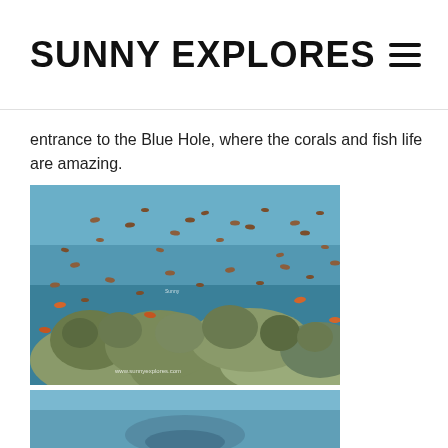SUNNY EXPLORES
entrance to the Blue Hole, where the corals and fish life are amazing.
[Figure (photo): Underwater photo showing coral reef with many small fish swimming above, taken at the Blue Hole entrance. Watermark reads www.sunnyexplores.com]
[Figure (photo): Partial underwater photo, bottom portion visible showing blue water and a faint shape]